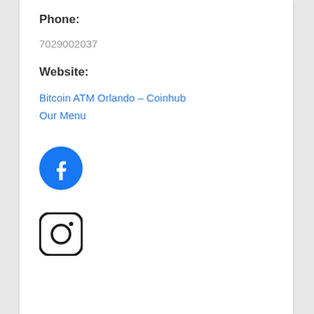Phone:
7029002037
Website:
Bitcoin ATM Orlando – Coinhub
Our Menu
[Figure (logo): Facebook logo — blue circle with white 'f' letterform]
[Figure (logo): Instagram logo — rounded square outline with circle and dot]